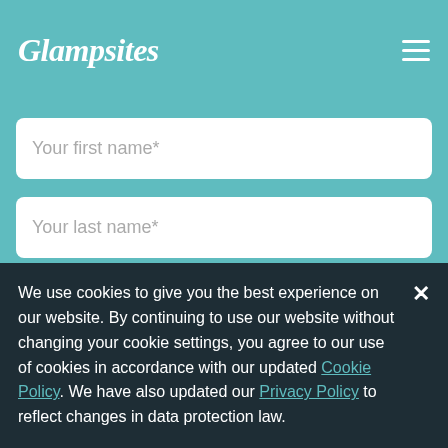[Figure (logo): Glampsites logo in white italic script font on teal background]
Your first name*
Your last name*
Your email address*
Subscribe Now
We use cookies to give you the best experience on our website. By continuing to use our website without changing your cookie settings, you agree to our use of cookies in accordance with our updated Cookie Policy. We have also updated our Privacy Policy to reflect changes in data protection law.